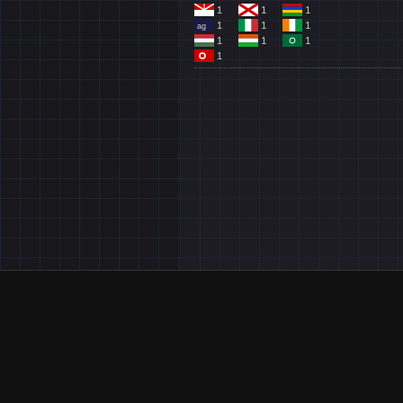[Figure (screenshot): Dark grid-background website panel showing flag icons with count '1' next to each, in rows of three flags]
Advertisement
[Figure (other): Advertisement placeholder box with dark diagonal stripes pattern]
Online:  FS admins BladeKiller  registered Roysmithh
2636 visitors, 65 members and 50 downloaders since 24 hours
Urban Terror | Support | Forums | Frozensand
Copyright © 1999-2022 Frozensand Games Limited  |  All rights reserved
Frozensand Games is a Limited company regis